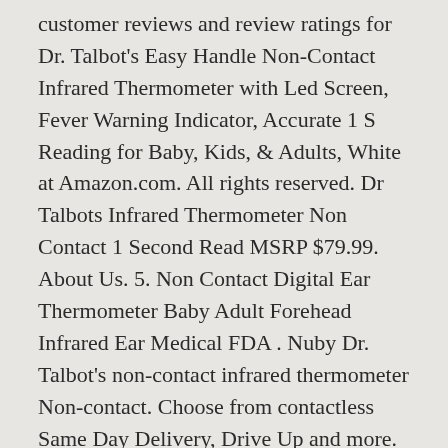customer reviews and review ratings for Dr. Talbot's Easy Handle Non-Contact Infrared Thermometer with Led Screen, Fever Warning Indicator, Accurate 1 S Reading for Baby, Kids, & Adults, White at Amazon.com. All rights reserved. Dr Talbots Infrared Thermometer Non Contact 1 Second Read MSRP $79.99. About Us. 5. Non Contact Digital Ear Thermometer Baby Adult Forehead Infrared Ear Medical FDA . Nuby Dr. Talbot's non-contact infrared thermometer Non-contact. Choose from contactless Same Day Delivery, Drive Up and more. Dr Talbot's infra red thermometer measures temperature easily and accurately in just 1 second. Temperature